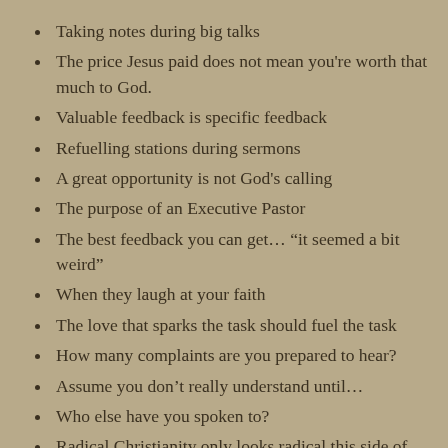Taking notes during big talks
The price Jesus paid does not mean you're worth that much to God.
Valuable feedback is specific feedback
Refuelling stations during sermons
A great opportunity is not God's calling
The purpose of an Executive Pastor
The best feedback you can get… “it seemed a bit weird”
When they laugh at your faith
The love that sparks the task should fuel the task
How many complaints are you prepared to hear?
Assume you don’t really understand until…
Who else have you spoken to?
Radical Christianity only looks radical this side of heaven
Jesus doesn’t give you “your heaven” – he calls you to share his